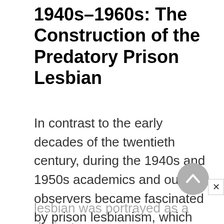1940s–1960s: The Construction of the Predatory Prison Lesbian
In contrast to the early decades of the twentieth century, during the 1940s and 1950s academics and outside observers became fascinated by prison lesbianism, which became a central feature of pulp novels and Hollywood B movies about women's prisons. In the postwar era, the prison lesbian was portrayed as a distinct